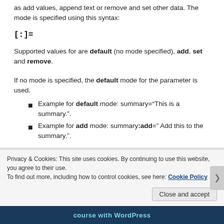as add values, append text or remove and set other data. The mode is specified using this syntax:
Supported values for are default (no mode specified), add, set and remove.
If no mode is specified, the default mode for the parameter is used.
Example for default mode: summary="This is a summary.".
Example for add mode: summary:add=" Add this to the summary.".
Privacy & Cookies: This site uses cookies. By continuing to use this website, you agree to their use.
To find out more, including how to control cookies, see here: Cookie Policy
Close and accept
course with WordPress